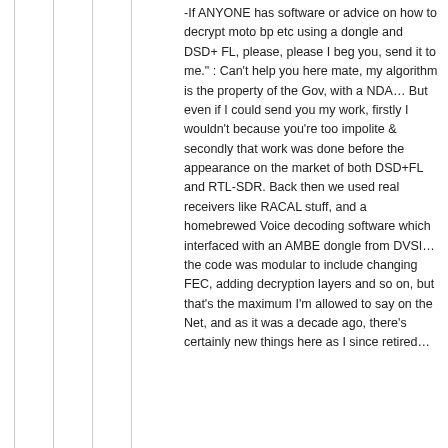-If ANYONE has software or advice on how to decrypt moto bp etc using a dongle and DSD+ FL, please, please I beg you, send it to me." : Can't help you here mate, my algorithm is the property of the Gov, with a NDA… But even if I could send you my work, firstly I wouldn't because you're too impolite & secondly that work was done before the appearance on the market of both DSD+FL and RTL-SDR. Back then we used real receivers like RACAL stuff, and a homebrewed Voice decoding software which interfaced with an AMBE dongle from DVSI… the code was modular to include changing FEC, adding decryption layers and so on, but that's the maximum I'm allowed to say on the Net, and as it was a decade ago, there's certainly new things here as I since retired…